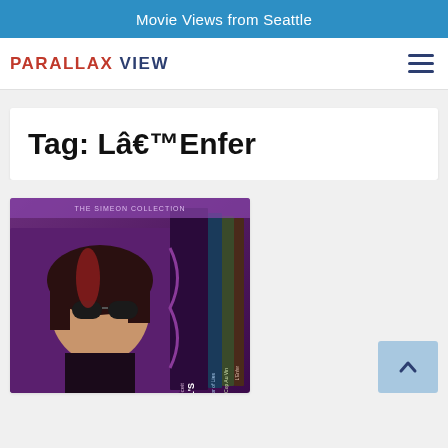Movie Views from Seattle
PARALLAX VIEW
Tag: Lâ€™Enfer
[Figure (photo): Claude Chabrol DVD box set titled 'Tales of Deceit' showing multiple DVD cases with a woman in sunglasses on the cover]
[Figure (other): Scroll-to-top button with upward arrow]